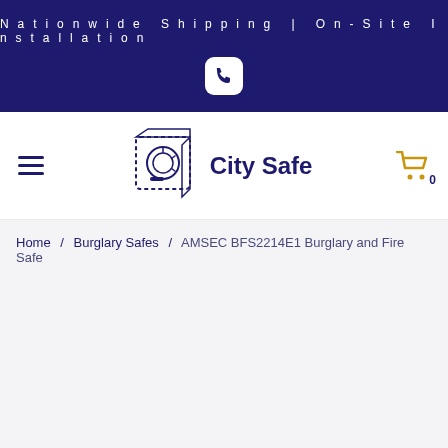Nationwide Shipping | On-Site Installation
[Figure (logo): City Safe logo with safe icon and brand name]
Home / Burglary Safes / AMSEC BFS2214E1 Burglary and Fire Safe